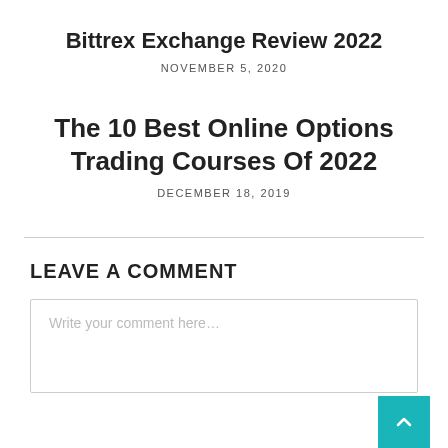Bittrex Exchange Review 2022
NOVEMBER 5, 2020
The 10 Best Online Options Trading Courses Of 2022
DECEMBER 18, 2019
LEAVE A COMMENT
Write your comment here…